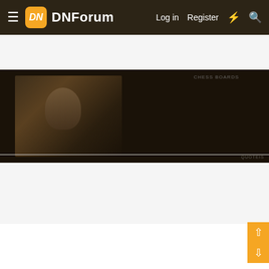DNForum | Log in  Register
[Figure (photo): Dark vintage photo showing a person in formal attire, with a quote overlay text, and 'QUOTEIS' watermark in bottom right]
Reply
helmuc
HostMaria.com
Feedback:0 / 0 / 0
Apr 25, 2022  #10
I have created a Google Docs with links to the various forum threads we advertise our event:
https://docs.google.com/document/d/1jSmkVx7wOonB1wKegvZqgE8Tl3tTh42-sccM82bvlk/edit?usp=sharing